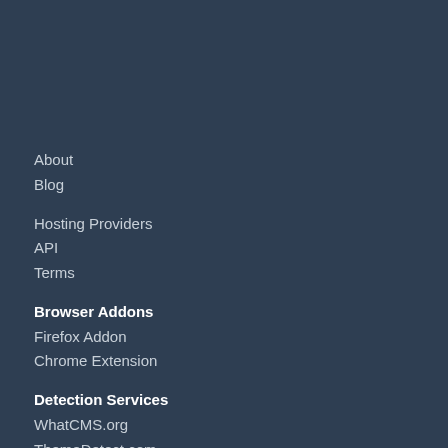About
Blog
Hosting Providers
API
Terms
Browser Addons
Firefox Addon
Chrome Extension
Detection Services
WhatCMS.org
ThemeDetect.com